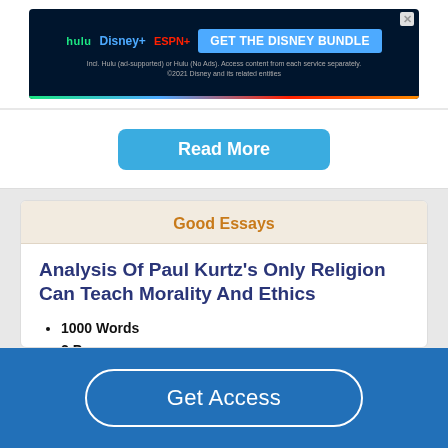[Figure (screenshot): Disney Bundle advertisement banner with Hulu, Disney+, ESPN+ logos and 'GET THE DISNEY BUNDLE' call-to-action button]
Read More
Good Essays
Analysis Of Paul Kurtz's Only Religion Can Teach Morality And Ethics
1000 Words
2 Pages
In his argument, Pope draws on the idea that “new atheists hold that Christian morality
Get Access